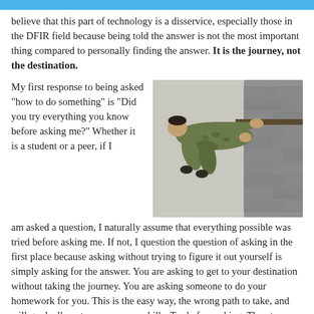believe that this part of technology is a disservice, especially those in the DFIR field because being told the answer is not the most important thing compared to personally finding the answer. It is the journey, not the destination.
[Figure (photo): A soldier in camouflage uniform climbing or traversing a wall obstacle course, reaching forward with one arm extended.]
My first response to being asked "how to do something" is "Did you try everything you know before asking me?"  Whether it is a student or a peer, if I am asked a question, I naturally assume that everything possible was tried before asking me.  If not, I question the question of asking in the first place because asking without trying to figure it out yourself is simply asking for the answer.  You are asking to get to your destination without taking the journey.  You are asking someone to do your homework for you.  This is the easy way, the wrong path to take, and will gradually put a cap on your skills.  Try before asking.  Then try again.  At some point you will run out of different attempts and then when you ask, I know (or will assume) that you tried everything you know how to try.  Hopefully before